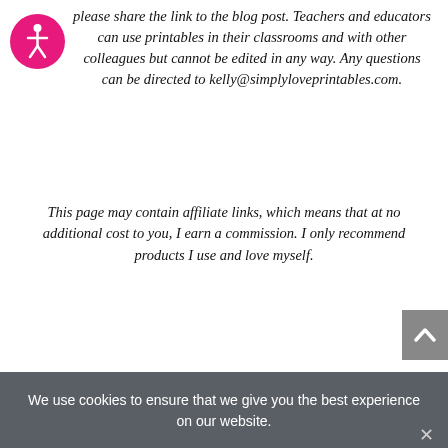please share the link to the blog post. Teachers and educators can use printables in their classrooms and with other colleagues but cannot be edited in any way. Any questions can be directed to kelly@simplyloveprintables.com.
This page may contain affiliate links, which means that at no additional cost to you, I earn a commission. I only recommend products I use and love myself.
[Figure (illustration): Pink circular accessibility icon with a person/wheelchair symbol inside]
[Figure (other): Gray scroll-to-top button with upward chevron arrow]
We use cookies to ensure that we give you the best experience on our website.